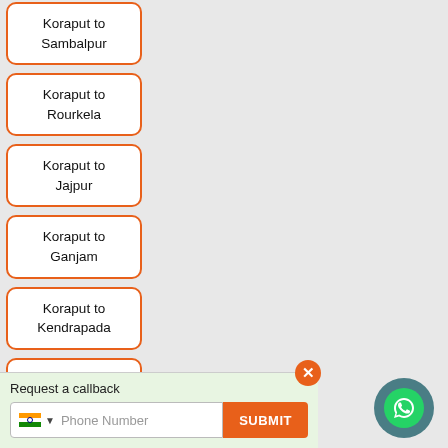Koraput to Sambalpur
Koraput to Rourkela
Koraput to Jajpur
Koraput to Ganjam
Koraput to Kendrapada
Koraput to Koraput...
Request a callback
Phone Number SUBMIT